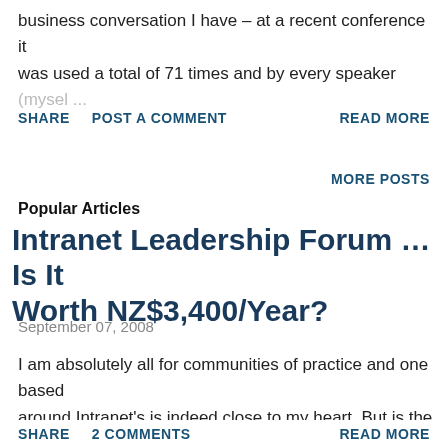business conversation I have – at a recent conference it was used a total of 71 times and by every speaker (myself ...
SHARE   POST A COMMENT   READ MORE
MORE POSTS
Popular Articles
Intranet Leadership Forum … Is It Worth NZ$3,400/Year?
September 07, 2008
I am absolutely all for communities of practice and one based around Intranet's is indeed close to my heart. But is the Intranet Leadership Forum worth NZ$3,400 per year … that's for an individual membership. I dunno, with all that shared resource o ...
SHARE   2 COMMENTS   READ MORE